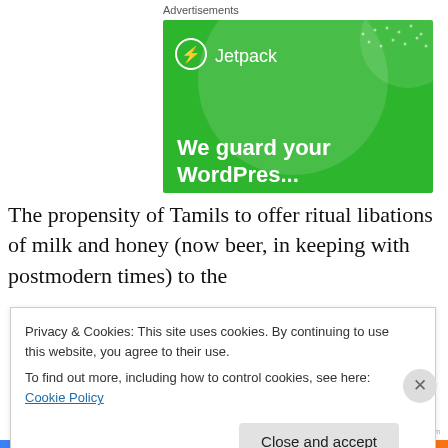Advertisements
[Figure (illustration): Jetpack advertisement banner with green background, Jetpack logo, and tagline 'We guard your WordPress...']
The propensity of Tamils to offer ritual libations of milk and honey (now beer, in keeping with postmodern times) to the
Privacy & Cookies: This site uses cookies. By continuing to use this website, you agree to their use.
To find out more, including how to control cookies, see here: Cookie Policy
Close and accept